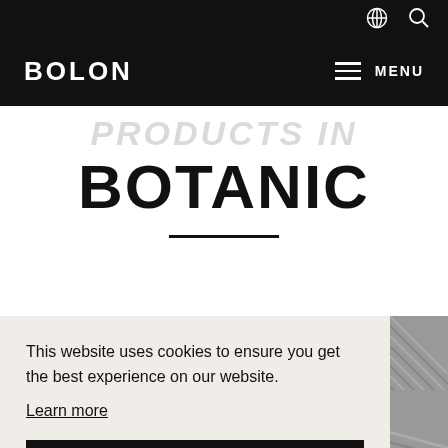BOLON  MENU
PRODUCTS IN BOTANIC
This website uses cookies to ensure you get the best experience on our website. Learn more Got it!
[Figure (photo): Textile/fabric texture swatches at the bottom of the page — dark brown/taupe on left, grey on right]